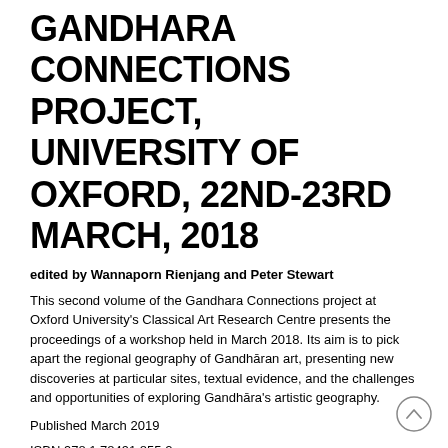GANDHARA CONNECTIONS PROJECT, UNIVERSITY OF OXFORD, 22ND-23RD MARCH, 2018
edited by Wannaporn Rienjang and Peter Stewart
This second volume of the Gandhara Connections project at Oxford University's Classical Art Research Centre presents the proceedings of a workshop held in March 2018. Its aim is to pick apart the regional geography of Gandhāran art, presenting new discoveries at particular sites, textual evidence, and the challenges and opportunities of exploring Gandhāra's artistic geography.
Published March 2019
ISBN 978 1 78491 855 2
ISBN 978 1 78491 856 (e-Pdf)